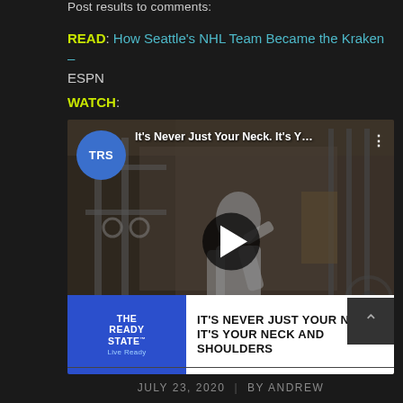Post results to comments:
READ: How Seattle's NHL Team Became the Kraken – ESPN
WATCH:
[Figure (screenshot): YouTube video thumbnail for 'It's Never Just Your Neck. It's Y…' by The Ready State (TRS). Shows a man in a gym touching his neck/shoulders. Bottom bar shows logo and title: IT'S NEVER JUST YOUR NECK. IT'S YOUR NECK AND SHOULDERS]
JULY 23, 2020  |  BY ANDREW